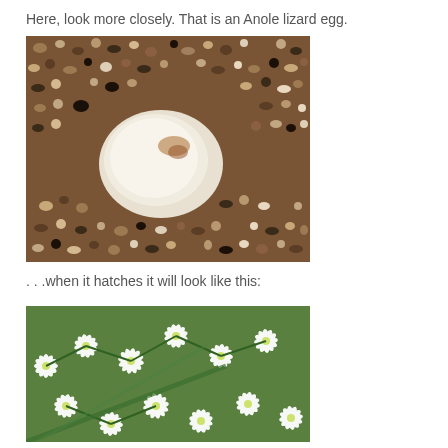Here, look more closely. That is an Anole lizard egg.
[Figure (photo): Close-up photo of an Anole lizard egg partially buried in coarse brown/grey gravel or sand. The egg is white/pale grey and round, surrounded by small stones and pebbles of various brown, black, and white colors.]
. . .when it hatches it will look like this:
[Figure (photo): Close-up photo of white star-shaped flowers (possibly Clematis or similar plant) with green leaves, densely clustered together.]